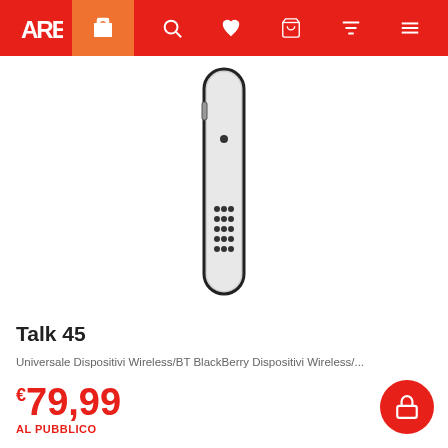AREA — navigation bar with shop, search, wishlist, cart, filter, menu icons
[Figure (photo): Vertical Bluetooth headset device (Talk 45) shown from the front — silver/white elongated stick shape with a small dot near the top and a grid of speaker holes toward the bottom, on white background]
Talk 45
Universale Dispositivi Wireless/BT BlackBerry Dispositivi Wireless/...
€79,99
AL PUBBLICO